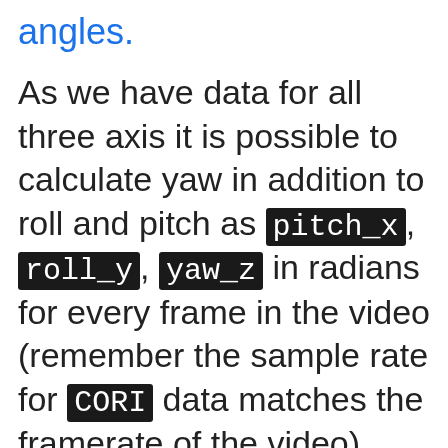angles.
As we have data for all three axis it is possible to calculate yaw in addition to roll and pitch as pitch_x, roll_y, yaw_z in radians for every frame in the video (remember the sample rate for CORI data matches the framerate of the video).
Specifically for roll_y and pitch_x, the measurements in line with the way GoPro